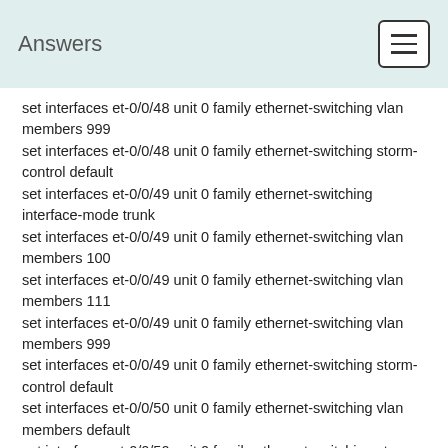Answers
set interfaces et-0/0/48 unit 0 family ethernet-switching vlan members 999
set interfaces et-0/0/48 unit 0 family ethernet-switching storm-control default
set interfaces et-0/0/49 unit 0 family ethernet-switching interface-mode trunk
set interfaces et-0/0/49 unit 0 family ethernet-switching vlan members 100
set interfaces et-0/0/49 unit 0 family ethernet-switching vlan members 111
set interfaces et-0/0/49 unit 0 family ethernet-switching vlan members 999
set interfaces et-0/0/49 unit 0 family ethernet-switching storm-control default
set interfaces et-0/0/50 unit 0 family ethernet-switching vlan members default
set interfaces et-0/0/50 unit 0 family ethernet-switching storm-control default